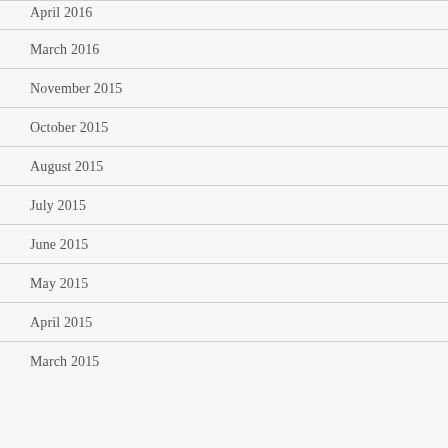April 2016
March 2016
November 2015
October 2015
August 2015
July 2015
June 2015
May 2015
April 2015
March 2015